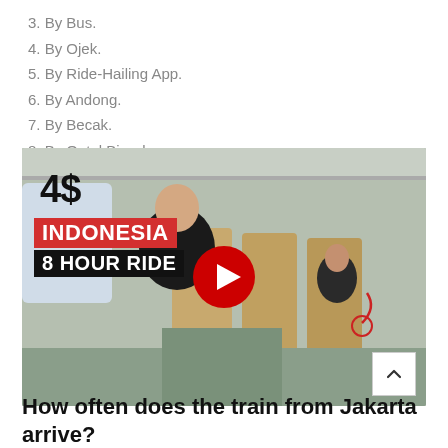3. By Bus.
4. By Ojek.
5. By Ride-Hailing App.
6. By Andong.
7. By Becak.
8. By Ontel Bicycle.
[Figure (screenshot): YouTube video thumbnail showing a man sitting in a train interior with text overlay: '4$', 'INDONESIA' in red box, '8 HOUR RIDE' in black box, and a YouTube play button in the center.]
How often does the train from Jakarta arrive?